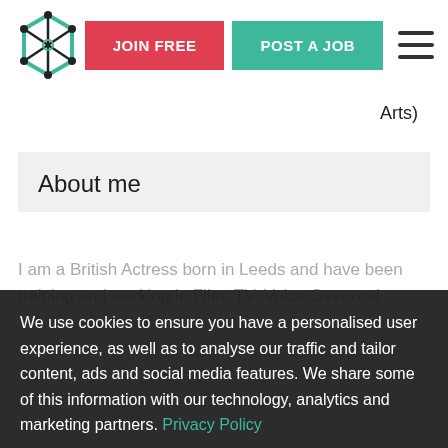JOIN FREE | POST A JOB
Arts)
About me
I am a British Actress born in Leeds and have been training and working in Film, TV, Voice Over and
We use cookies to ensure you have a personalised user experience, as well as to analyse our traffic and tailor content, ads and social media features. We share some of this information with our technology, analytics and marketing partners. Privacy Policy
ACCEPT COOKIES